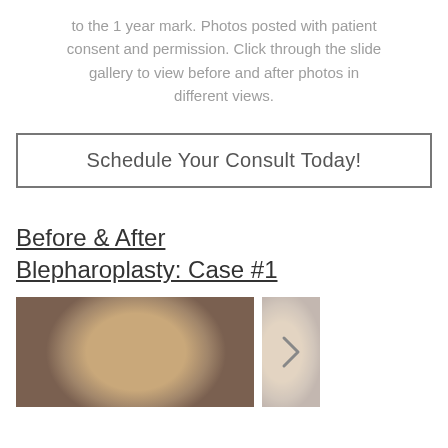to the 1 year mark. Photos posted with patient consent and permission. Click through the slide gallery to view before and after photos in different views.
Schedule Your Consult Today!
Before & After Blepharoplasty: Case #1
[Figure (photo): Before photo of a patient for blepharoplasty case #1, showing the forehead and eye area]